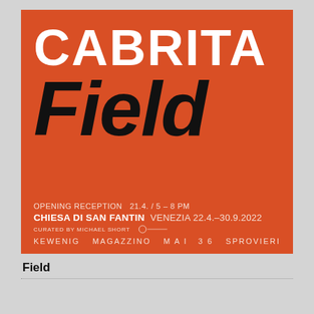[Figure (illustration): Exhibition poster for 'Cabrita Field' on orange-red background. Large white bold text 'CABRITA' at top, large black bold italic 'Field' below. Bottom section shows event details: Opening Reception 21.4. / 5–8 PM, Chiesa Di San Fantin, Venezia 22.4.–30.9.2022, Curated by Michael Short, galleries: Kewenig, Magazzino, MAI 36, Sprovieri.]
Field